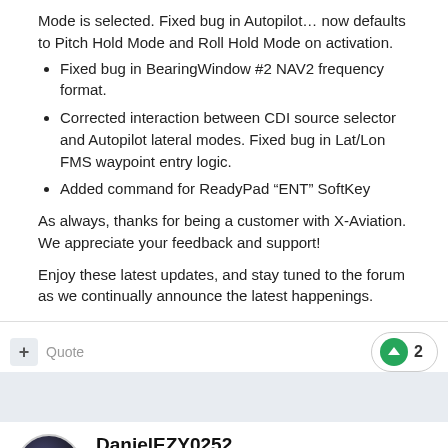Mode is selected. Fixed bug in Autopilot... now defaults to Pitch Hold Mode and Roll Hold Mode on activation.
Fixed bug in BearingWindow #2 NAV2 frequency format.
Corrected interaction between CDI source selector and Autopilot lateral modes. Fixed bug in Lat/Lon FMS waypoint entry logic.
Added command for ReadyPad “ENT” SoftKey
As always, thanks for being a customer with X-Aviation. We appreciate your feedback and support!
Enjoy these latest updates, and stay tuned to the forum as we continually announce the latest happenings.
DanielEZY0252
Posted June 18, 2015